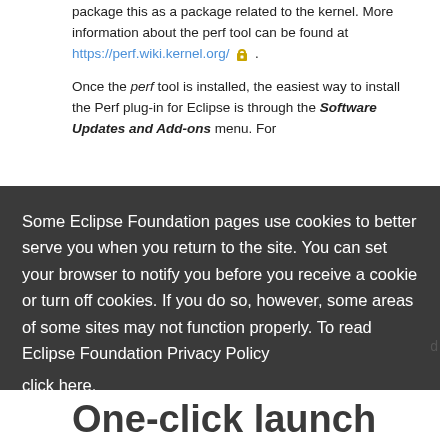package this as a package related to the kernel. More information about the perf tool can be found at https://perf.wiki.kernel.org/ .
Once the perf tool is installed, the easiest way to install the Perf plug-in for Eclipse is through the Software Updates and Add-ons menu. For
Some Eclipse Foundation pages use cookies to better serve you when you return to the site. You can set your browser to notify you before you receive a cookie or turn off cookies. If you do so, however, some areas of some sites may not function properly. To read Eclipse Foundation Privacy Policy click here.
Decline
Allow cookies
One-click launch